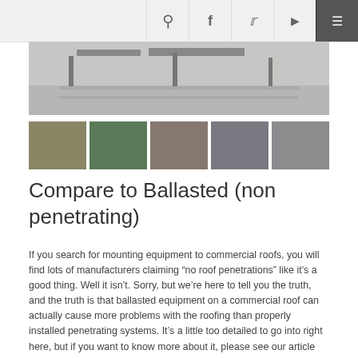[Figure (screenshot): Website navigation bar with search, Facebook, Twitter, YouTube icons and hamburger menu]
[Figure (photo): Main large photo showing rooftop mounting equipment on a commercial flat roof with metal frames and hardware]
[Figure (photo): Row of five thumbnail images showing various commercial rooftop mounting and solar panel installations]
Compare to Ballasted (non penetrating)
If you search for mounting equipment to commercial roofs, you will find lots of manufacturers claiming “no roof penetrations” like it’s a good thing. Well it isn’t. Sorry, but we’re here to tell you the truth, and the truth is that ballasted equipment on a commercial roof can actually cause more problems with the roofing than properly installed penetrating systems. It’s a little too detailed to go into right here, but if you want to know more about it, please see our article titled Why Roof Penetrations Are Actually a Good Thing.